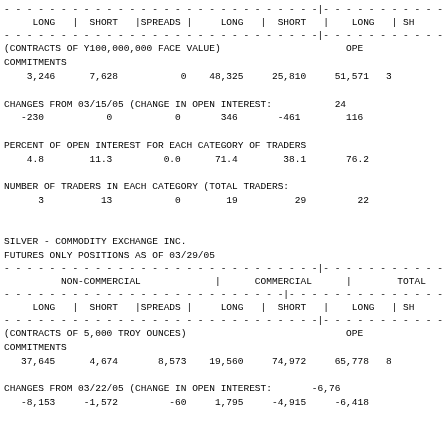| LONG | SHORT | SPREADS | LONG | SHORT | LONG | SH |
| --- | --- | --- | --- | --- | --- | --- |
| 3,246 | 7,628 | 0 | 48,325 | 25,810 | 51,571 | 3 |
CHANGES FROM 03/15/05 (CHANGE IN OPEN INTEREST: 24
-230    0    0    346    -461    116
PERCENT OF OPEN INTEREST FOR EACH CATEGORY OF TRADERS
4.8    11.3    0.0    71.4    38.1    76.2
NUMBER OF TRADERS IN EACH CATEGORY (TOTAL TRADERS:
3    13    0    19    29    22
SILVER - COMMODITY EXCHANGE INC.
FUTURES ONLY POSITIONS AS OF 03/29/05
| NON-COMMERCIAL | COMMERCIAL | TOTAL |
| --- | --- | --- |
| LONG | SHORT | SPREADS | LONG | SHORT | LONG | SH |
| 37,645 | 4,674 | 8,573 | 19,560 | 74,972 | 65,778 | 8 |
CHANGES FROM 03/22/05 (CHANGE IN OPEN INTEREST: -6,76
-8,153    -1,572    -60    1,795    -4,915    -6,418